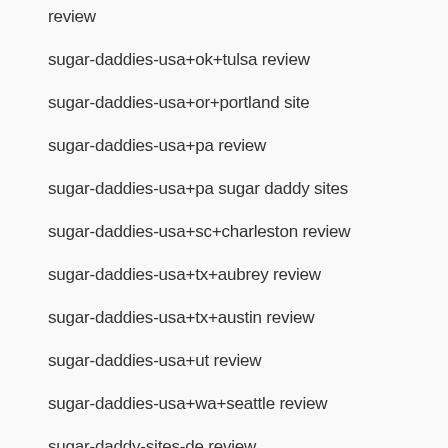review
sugar-daddies-usa+ok+tulsa review
sugar-daddies-usa+or+portland site
sugar-daddies-usa+pa review
sugar-daddies-usa+pa sugar daddy sites
sugar-daddies-usa+sc+charleston review
sugar-daddies-usa+tx+aubrey review
sugar-daddies-usa+tx+austin review
sugar-daddies-usa+ut review
sugar-daddies-usa+wa+seattle review
sugar-daddy-sites-de review
sugarbook cs review